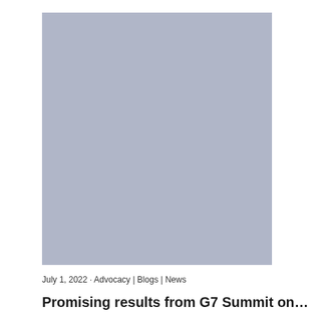[Figure (photo): Large rectangular image placeholder with a muted blue-grey background color, occupying the upper portion of the page.]
July 1, 2022 · Advocacy | Blogs | News
Promising results from G7 Summit on...